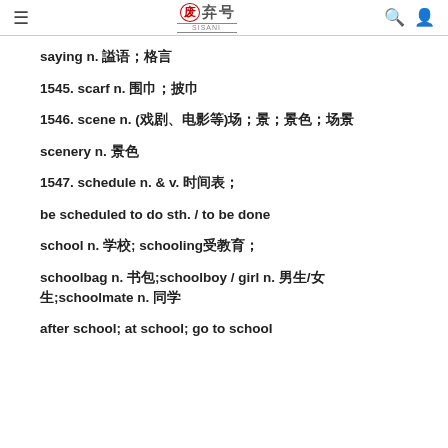≡ 废弃号 🔍 👤
saying n. 谚语；格言
1545. scarf n. 围巾；披巾
1546. scene n. (戏剧、电影等)场；景；景色；场景
scenery n. 景色
1547. schedule n. & v. 时间表；
be scheduled to do sth. / to be done
school n. 学校; schooling受教育；
schoolbag n. 书包;schoolboy / girl n. 男生/女生;schoolmate n. 同学
after school; at school; go to school